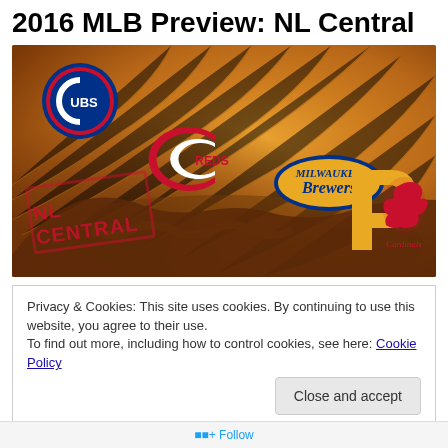2016 MLB Preview: NL Central
[Figure (photo): Baseball glove close-up with NL Central team logos overlaid: Cubs, Reds, Brewers, Pirates, Cardinals. Text stamp reading 'NL CENTRAL' in lower left.]
Privacy & Cookies: This site uses cookies. By continuing to use this website, you agree to their use.
To find out more, including how to control cookies, see here: Cookie Policy